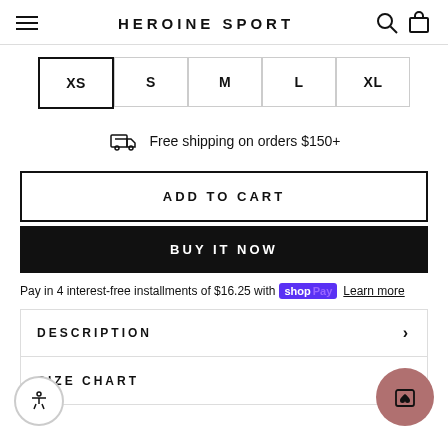HEROINE SPORT
XS  S  M  L  XL
Free shipping on orders $150+
ADD TO CART
BUY IT NOW
Pay in 4 interest-free installments of $16.25 with Shop Pay  Learn more
DESCRIPTION
SIZE CHART